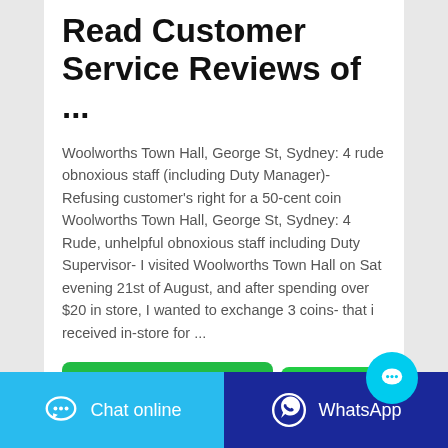Read Customer Service Reviews of ...
Woolworths Town Hall, George St, Sydney: 4 rude obnoxious staff (including Duty Manager)- Refusing customer's right for a 50-cent coin Woolworths Town Hall, George St, Sydney: 4 Rude, unhelpful obnoxious staff including Duty Supervisor- I visited Woolworths Town Hall on Sat evening 21st of August, and after spending over $20 in store, I wanted to exchange 3 coins- that i received in-store for ...
CONTACT THE MANUFACTURER
WHATSAPP
Chat online
WhatsApp